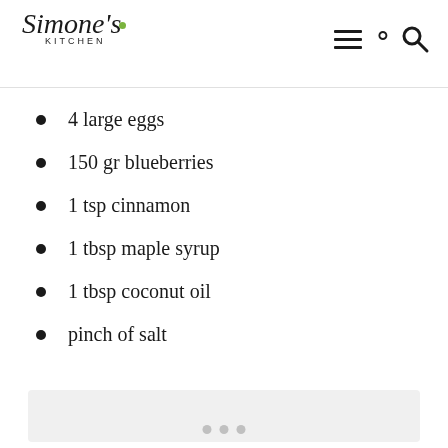Simone's Kitchen
4 large eggs
150 gr blueberries
1 tsp cinnamon
1 tbsp maple syrup
1 tbsp coconut oil
pinch of salt
[Figure (photo): Gray placeholder image area with three dots at bottom indicating a carousel]